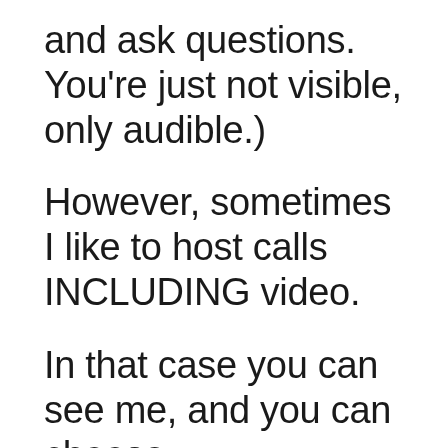and ask questions. You're just not visible, only audible.)
However, sometimes I like to host calls INCLUDING video.
In that case you can see me, and you can choose